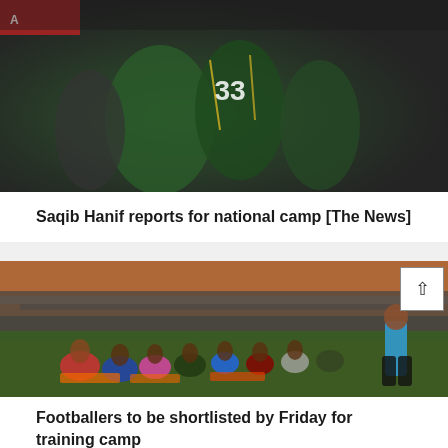[Figure (photo): Close-up photo of football players in green jerseys with number 33, wearing lanyards, at a national camp]
Saqib Hanif reports for national camp [The News]
[Figure (photo): Wide-angle photo of footballers sitting on the grass in a stadium listening to a coach in a blue shirt during a training camp session at dusk]
Footballers to be shortlisted by Friday for training camp